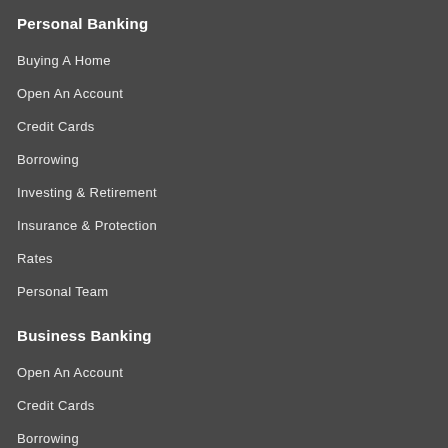Personal Banking
Buying A Home
Open An Account
Credit Cards
Borrowing
Investing & Retirement
Insurance & Protection
Rates
Personal Team
Business Banking
Open An Account
Credit Cards
Borrowing